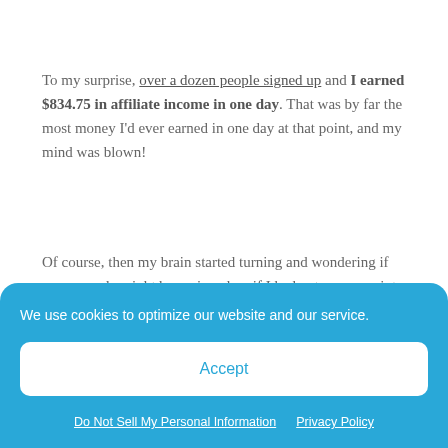To my surprise, over a dozen people signed up and I earned $834.75 in affiliate income in one day. That was by far the most money I'd ever earned in one day at that point, and my mind was blown!
Of course, then my brain started turning and wondering if more people might have signed up if I had put even one iota of energy into actually marketing it...
So, from then on, every time I spoke at the
We use cookies to optimize our website and our service.
Accept
Do Not Sell My Personal Information   Privacy Policy